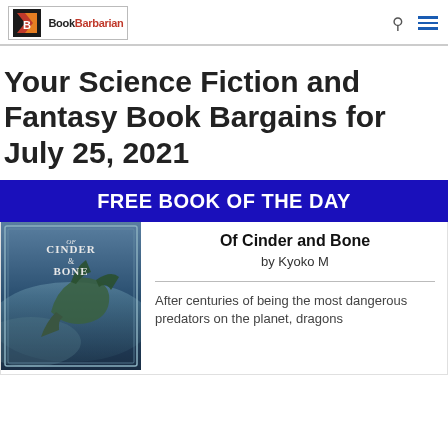BookBarbarian logo with search and menu icons
Your Science Fiction and Fantasy Book Bargains for July 25, 2021
FREE BOOK OF THE DAY
[Figure (illustration): Book cover of 'Of Cinder and Bone' showing a dragon in a misty blue-green scene with ornate border]
Of Cinder and Bone
by Kyoko M

After centuries of being the most dangerous predators on the planet, dragons